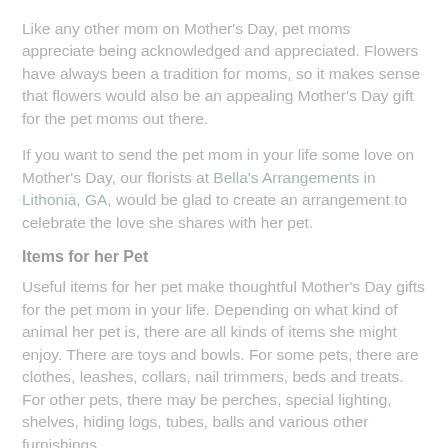Like any other mom on Mother's Day, pet moms appreciate being acknowledged and appreciated. Flowers have always been a tradition for moms, so it makes sense that flowers would also be an appealing Mother's Day gift for the pet moms out there.
If you want to send the pet mom in your life some love on Mother's Day, our florists at Bella's Arrangements in Lithonia, GA, would be glad to create an arrangement to celebrate the love she shares with her pet.
Items for her Pet
Useful items for her pet make thoughtful Mother's Day gifts for the pet mom in your life. Depending on what kind of animal her pet is, there are all kinds of items she might enjoy. There are toys and bowls. For some pets, there are clothes, leashes, collars, nail trimmers, beds and treats. For other pets, there may be perches, special lighting, shelves, hiding logs, tubes, balls and various other furnishings.